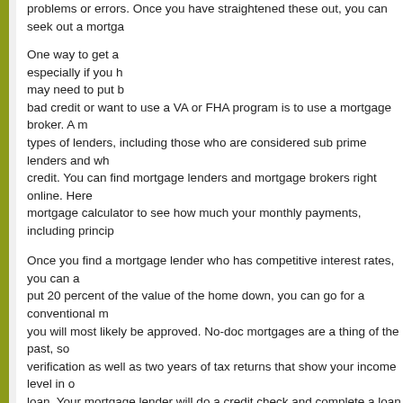problems or errors. Once you have straightened these out, you can seek out a mortgage lender.
One way to get a mortgage, especially if you have bad credit or want to use a VA or FHA program is to use a mortgage broker. A mortgage broker works with many types of lenders, including those who are considered sub prime lenders and who work with those who have bad credit. You can find mortgage lenders and mortgage brokers right online. Here you can also use a mortgage calculator to see how much your monthly payments, including principal and interest, will be.
Once you find a mortgage lender who has competitive interest rates, you can apply for a mortgage. If you put 20 percent of the value of the home down, you can go for a conventional mortgage and you will most likely be approved. No-doc mortgages are a thing of the past, so you will need income verification as well as two years of tax returns that show your income level in order to get a loan. Your mortgage lender will do a credit check and complete a loan application and will sign papers to allow your employer to verify your employment and salary as well as your assets.
If you decide to go FHA or VA, you will have additional forms to sign. Both are favorable as they require smaller down payments and offer lower rates. The FHA loans are backed by the Federal Housing Authority. In order to qualify, you have to be a first time homebuyer and be purchasing a home under $250,000. You can only get an FHA loan once. In order to get a VA loan, which is backed by the Veterans Administration, you have to be a veteran of the armed services of the US, or the surviving spouse of one who was killed in action while in the service. You can use the VA program three times.
You will have to also prove that you have the down payment required for the ho